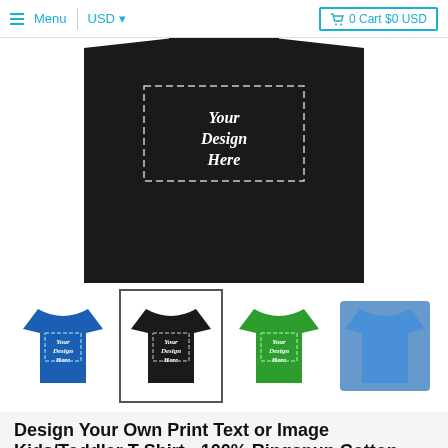≡ Menu | USD ▾   🛒 0 Cart $0 USD
[Figure (photo): Close-up of a black kids t-shirt with dashed print area rectangle shown on the front, printed with 'Your Design Here' text in white script font]
[Figure (photo): Thumbnail row showing four kids t-shirts in blue, black (selected), green, and partially visible blue/purple colors, each with 'Your Design Here' printed on the front]
Design Your Own Print Text or Image Kids/Toddler T-Shirt - 100% Ringspun Cotton